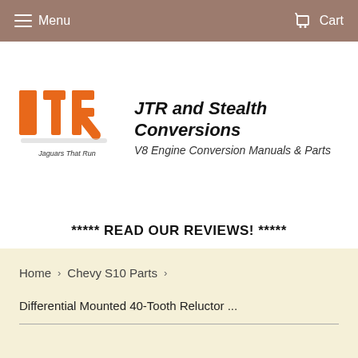Menu   Cart
[Figure (logo): JTR logo - orange block letters JTR with text 'Jaguars That Run' underneath]
JTR and Stealth Conversions
V8 Engine Conversion Manuals & Parts
***** READ OUR REVIEWS! *****
Home > Chevy S10 Parts >
Differential Mounted 40-Tooth Reluctor ...